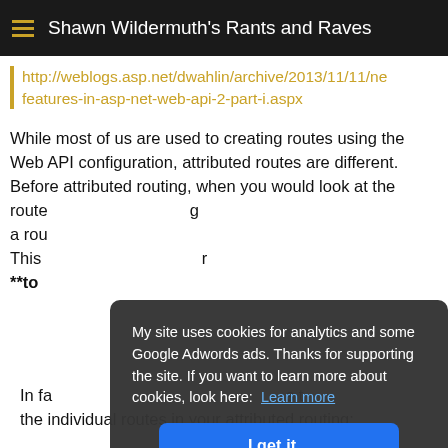Shawn Wildermuth's Rants and Raves
http://weblogs.asp.net/dwahlin/archive/2013/11/11/ne features-in-asp-net-web-api-2-part-i.aspx
While most of us are used to creating routes using the Web API configuration, attributed routes are different. Before attributed routing, when you would look at the route... g a rou... This... r **to
[Figure (screenshot): Cookie consent overlay popup with dark background. Text: 'My site uses cookies for analytics and some Google Adwords ads. Thanks for supporting the site. If you want to learn more about cookies, look here: Learn more'. Blue button 'I get it...']
In fa... s t the individual routes in your attributed routing: